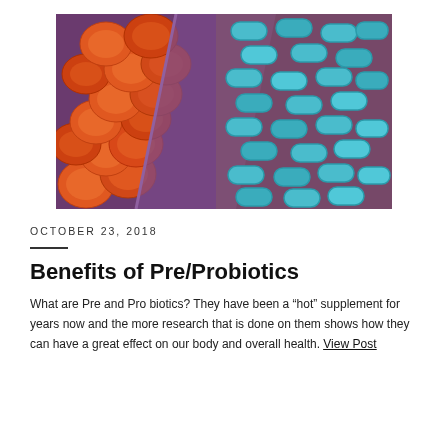[Figure (photo): Microscopic image showing two types of bacteria — orange/red rounded bacteria on the left and teal/blue elongated rod-shaped bacteria on the right, split diagonally across the image.]
OCTOBER 23, 2018
Benefits of Pre/Probiotics
What are Pre and Pro biotics? They have been a “hot” supplement for years now and the more research that is done on them shows how they can have a great effect on our body and overall health. View Post